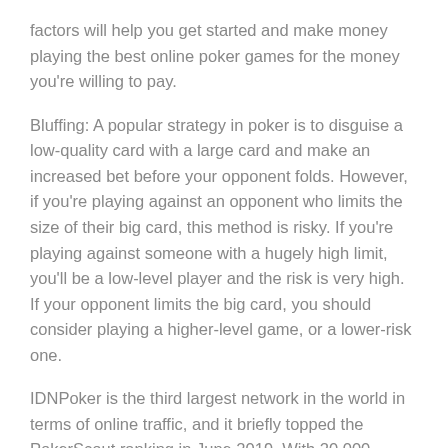factors will help you get started and make money playing the best online poker games for the money you're willing to pay.
Bluffing: A popular strategy in poker is to disguise a low-quality card with a large card and make an increased bet before your opponent folds. However, if you're playing against an opponent who limits the size of their big card, this method is risky. If you're playing against someone with a hugely high limit, you'll be a low-level player and the risk is very high. If your opponent limits the big card, you should consider playing a higher-level game, or a lower-risk one.
IDNPoker is the third largest network in the world in terms of online traffic, and it briefly topped the PokerScout ranking in June 2019. With 20,000 average daily connections, IDNPoker has hundreds of tables for players to choose from around the clock. During the evening hours in Europe, traffic is at its peak. In addition, IDNPoker does not allow multi-tabling, so players should not expect to multi-tabling in the casino.